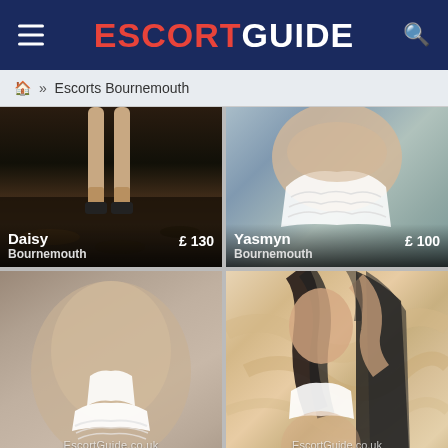ESCORTGUIDE
🏠 » Escorts Bournemouth
[Figure (photo): Escort listing card for Daisy, Bournemouth, £130. Dark bedroom background with legs visible.]
[Figure (photo): Escort listing card for Yasmyn, Bournemouth, £100. Close-up photo with lace lingerie top.]
[Figure (photo): Escort photo bottom-left. Grey/beige toned image showing figure in white lace underwear. Watermark: EscortGuide.co.uk]
[Figure (photo): Escort photo bottom-right. Woman posing with dark hair and black robe, white bra. Watermark: EscortGuide.co.uk]